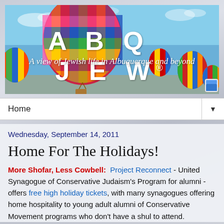[Figure (illustration): ABQ JEW website banner with colorful hot air balloons against a blue sky. Large bold white text reads 'ABQ JEW' with registered trademark symbol. Italic white tagline reads 'A view of Jewish life in Albuquerque and beyond'. Blue border surrounds banner.]
Home ▼
Wednesday, September 14, 2011
Home For The Holidays!
More Shofar, Less Cowbell:  Project Reconnect - United Synagogue of Conservative Judaism's Program for alumni - offers free high holiday tickets, with many synagogues offering home hospitality to young adult alumni of Conservative Movement programs who don't have a shul to attend.